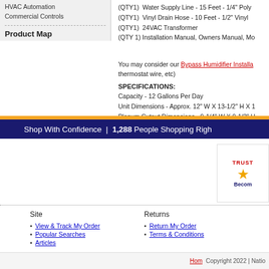HVAC Automation
Commercial Controls
Product Map
(QTY1)  Water Supply Line - 15 Feet - 1/4" Poly
(QTY1)  Vinyl Drain Hose - 10 Feet - 1/2" Vinyl
(QTY1)  24VAC Transformer
(QTY 1) Installation Manual, Owners Manual, Mo
You may consider our Bypass Humidifier Installa... thermostat wire, etc)
SPECIFICATIONS:
Capacity - 12 Gallons Per Day
Unit Dimensions - Approx. 12" W X 13-1/2" H X 1
Plenum Cutout Dimensions - 9-1/4" W X 9-1/2" H
Bypass Duct Connection Size - 6" Dia.
Shop With Confidence  |  1,288 People Shopping Righ
[Figure (logo): TrustE / Become trusted badge with star logo]
Site
View & Track My Order
Popular Searches
Articles
Returns
Return My Order
Terms & Conditions
Home  Copyright 2022 | Natio